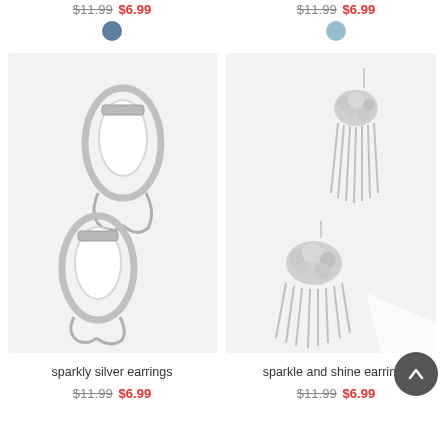$11.99  $6.99  (top left)
$11.99  $6.99  (top right)
[Figure (photo): Two sparkly silver rhinestone oval hoop earrings with dangling chain detail on white background]
[Figure (photo): Two sparkle and shine fringe/tassel earrings with crystal cluster top on white background]
sparkly silver earrings
sparkle and shine earrings
$11.99  $6.99  (bottom left)
$11.99  $6.99  (bottom right)